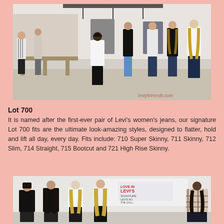[Figure (photo): Group of women models standing in a showroom wearing various Levi's jeans styles. Multiple women posed in a line showing different denim fits. Room has exposed brick, lighting rigs, and display boards.]
Lot 700
It is named after the first-ever pair of Levi's women's jeans, our signature Lot 700 fits are the ultimate look-amazing styles, designed to flatter, hold and lift all day, every day. Fits include: 710 Super Skinny, 711 Skinny, 712 Slim, 714 Straight, 715 Bootcut and 721 High Rise Skinny.
[Figure (photo): Group of female models standing against a white backdrop with a Levi's branded screen/projector showing 'Love in Levi's' branding. Models wearing dark jeans and various tops.]